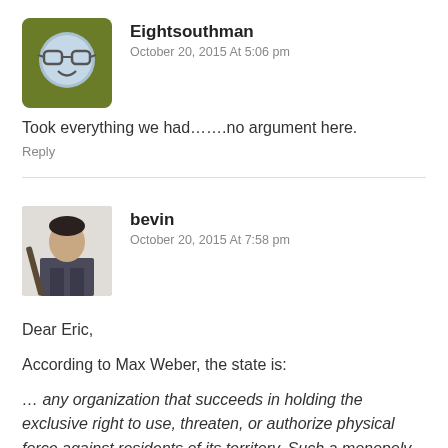[Figure (illustration): Avatar of Eightsouthman: cartoon face with glasses on olive/dark yellow background, rounded square shape]
Eightsouthman
October 20, 2015 At 5:06 pm
Took everything we had…….no argument here.
Reply
[Figure (photo): Avatar photo of bevin: a man holding what appears to be a rifle or similar object, gray/muted tones]
bevin
October 20, 2015 At 7:58 pm
Dear Eric,
According to Max Weber, the state is:
… any organization that succeeds in holding the exclusive right to use, threaten, or authorize physical force against residents of its territory. Such a monopoly, according to Weber, must occur via a process of legitimation.
…internationalization…characterized by the dominant…